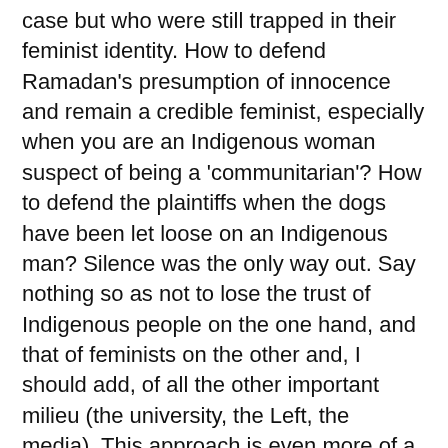case but who were still trapped in their feminist identity. How to defend Ramadan's presumption of innocence and remain a credible feminist, especially when you are an Indigenous woman suspect of being a 'communitarian'? How to defend the plaintiffs when the dogs have been let loose on an Indigenous man? Silence was the only way out. Say nothing so as not to lose the trust of Indigenous people on the one hand, and that of feminists on the other and, I should add, of all the other important milieu (the university, the Left, the media). This approach is even more of a feat given that Muslim feminists, for example, spend their entire time having to prove that Islam is not incompatible with feminism. If they were to support Tariq Ramadan's presumption of innocence they would endanger their entire strategy, which is to make themselves respectable in the eyes of progressive whites. But by taking a stance in favour of the women, they put in danger an entire feminist rhetoric whose aim is to convince the Muslim masses that feminism is not a Western invention, but actually inherent in Islam. These strategies do not really convince anyone… The